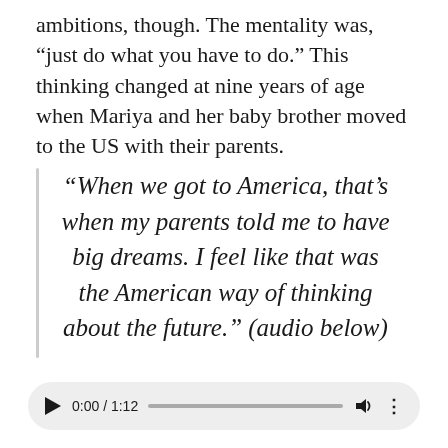ambitions, though. The mentality was, “just do what you have to do.” This thinking changed at nine years of age when Mariya and her baby brother moved to the US with their parents.
“When we got to America, that’s when my parents told me to have big dreams. I feel like that was the American way of thinking about the future.” (audio below)
[Figure (other): Audio player showing 0:00 / 1:12 with play button, progress bar, volume icon, and options menu]